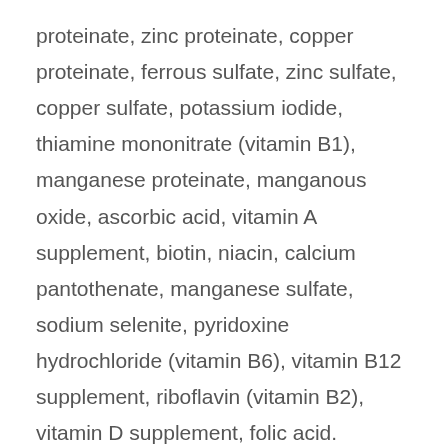proteinate, zinc proteinate, copper proteinate, ferrous sulfate, zinc sulfate, copper sulfate, potassium iodide, thiamine mononitrate (vitamin B1), manganese proteinate, manganous oxide, ascorbic acid, vitamin A supplement, biotin, niacin, calcium pantothenate, manganese sulfate, sodium selenite, pyridoxine hydrochloride (vitamin B6), vitamin B12 supplement, riboflavin (vitamin B2), vitamin D supplement, folic acid.
Why Diamond Naturals is a Great Choice
Diamond Naturals dog food is one of the most budget friendly dog brands that does not skimp